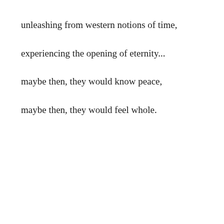unleashing from western notions of time,
experiencing the opening of eternity...
maybe then, they would know peace,
maybe then, they would feel whole.